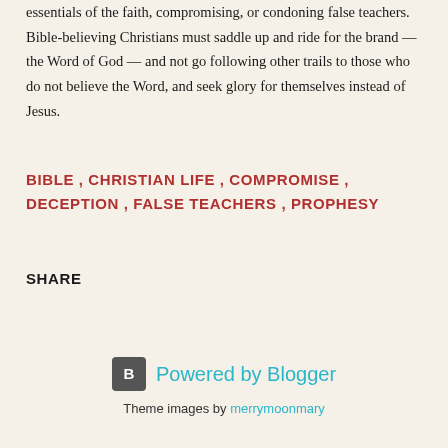essentials of the faith, compromising, or condoning false teachers. Bible-believing Christians must saddle up and ride for the brand — the Word of God — and not go following other trails to those who do not believe the Word, and seek glory for themselves instead of Jesus.
BIBLE , CHRISTIAN LIFE , COMPROMISE , DECEPTION , FALSE TEACHERS , PROPHESY
SHARE
Powered by Blogger
Theme images by merrymoonmary